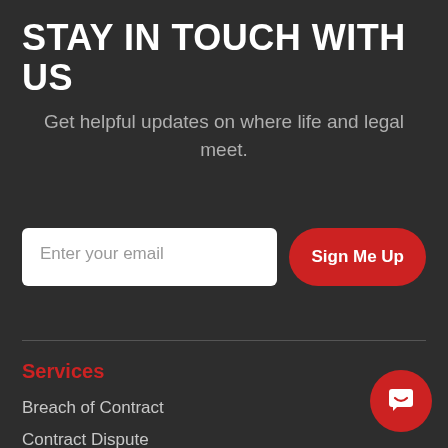STAY IN TOUCH WITH US
Get helpful updates on where life and legal meet.
Enter your email | Sign Me Up
Services
Breach of Contract
Contract Dispute